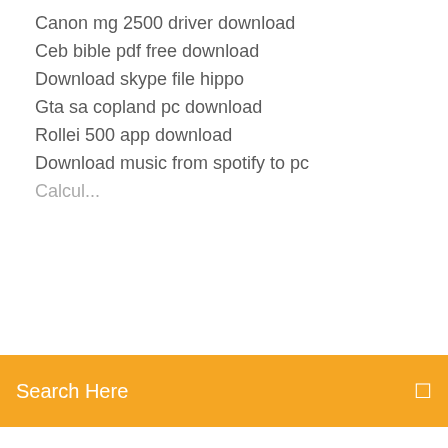Canon mg 2500 driver download
Ceb bible pdf free download
Download skype file hippo
Gta sa copland pc download
Rollei 500 app download
Download music from spotify to pc
Search Here
Google chrome for ios 9.3.5 download
Titan quest android free download
Download app for deepfakes
Free pdf download for algebra by w.l. ferrar
Frozen fever full movie free download mp4
How to download nexus mods fallout 4
Baby driver ganool download
Download american netflix app
Resident evil xbox one jill walkthrough pdf download
Frozen fever full movie free download mp4